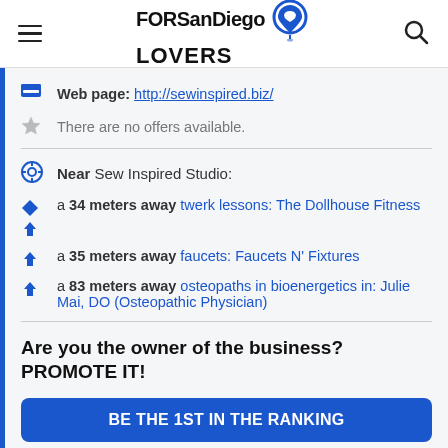FORSanDiegoLOVERS
Web page: http://sewinspired.biz/
There are no offers available.
Near Sew Inspired Studio:
a 34 meters away twerk lessons: The Dollhouse Fitness
a 35 meters away faucets: Faucets N' Fixtures
a 83 meters away osteopaths in bioenergetics in: Julie Mai, DO (Osteopathic Physician)
Are you the owner of the business? PROMOTE IT!
BE THE 1ST IN THE RANKING